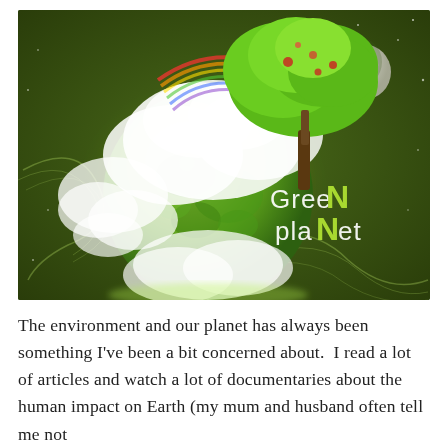[Figure (illustration): Green Planet illustration showing a stylized Earth globe covered in green trees and white clouds with a rainbow, surrounded by flowing wave lines, a moon in the upper right, and the text 'GreeN plaNEt' overlaid in the lower right. Dark olive/green background with stars.]
The environment and our planet has always been something I've been a bit concerned about.  I read a lot of articles and watch a lot of documentaries about the human impact on Earth (my mum and husband often tell me not